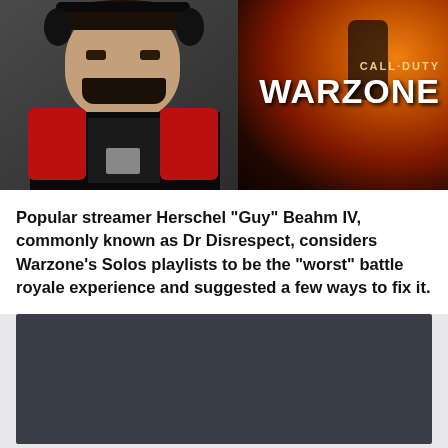[Figure (photo): Composite image showing streamer Dr Disrespect (man with mustache, headset, red and black costume) on the left, explosion scene on the right, with 'CALL DUTY WARZONE' logo overlay on the right side.]
Popular streamer Herschel “Guy” Beahm IV, commonly known as Dr Disrespect, considers Warzone’s Solos playlists to be the “worst” battle royale experience and suggested a few ways to fix it.
[Figure (screenshot): Dark gray/slate colored rectangle, appears to be an embedded video player or blurred screenshot.]